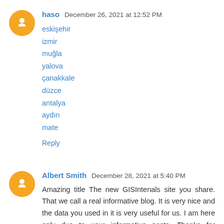haso  December 26, 2021 at 12:52 PM
eskişehir
izmir
muğla
yalova
çanakkale
düzce
antalya
aydın
mate
Reply
Albert Smith  December 28, 2021 at 5:40 PM
Amazing title The new GISIntenals site you share. That we call a real informative blog. It is very nice and the data you used in it is very useful for us. I am here only due to your informative posts. Thanks for shearing and keep on sharing. Get best Mobile App Development Dubai service of app development you visit here site for more info.